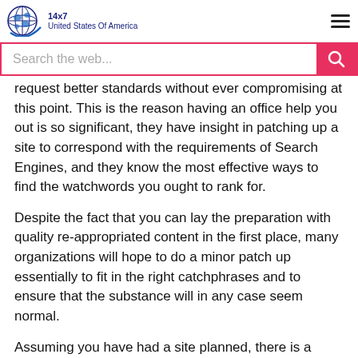14x7 United States Of America
request better standards without ever compromising at this point. This is the reason having an office help you out is so significant, they have insight in patching up a site to correspond with the requirements of Search Engines, and they know the most effective ways to find the watchwords you ought to rank for.
Despite the fact that you can lay the preparation with quality re-appropriated content in the first place, many organizations will hope to do a minor patch up essentially to fit in the right catchphrases and to ensure that the substance will in any case seem normal.
Assuming you have had a site planned, there is a decent opportunity that the organization who planned will actually want to offer you a SEO contract, or possibly put you in